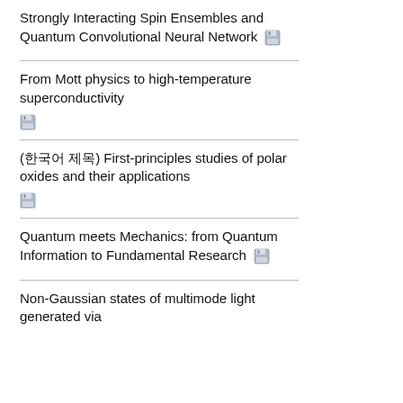Strongly Interacting Spin Ensembles and Quantum Convolutional Neural Network
From Mott physics to high-temperature superconductivity
(한국어 제목) First-principles studies of polar oxides and their applications
Quantum meets Mechanics: from Quantum Information to Fundamental Research
Non-Gaussian states of multimode light generated via